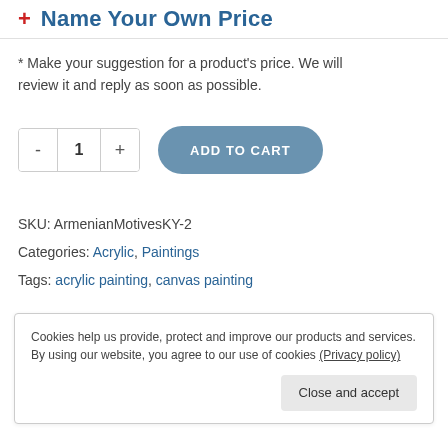+ Name Your Own Price
* Make your suggestion for a product's price. We will review it and reply as soon as possible.
[Figure (other): Quantity selector with minus button, value 1, plus button, and an Add to Cart button]
SKU: ArmenianMotivesKY-2
Categories: Acrylic, Paintings
Tags: acrylic painting, canvas painting
Cookies help us provide, protect and improve our products and services. By using our website, you agree to our use of cookies (Privacy policy)
Close and accept